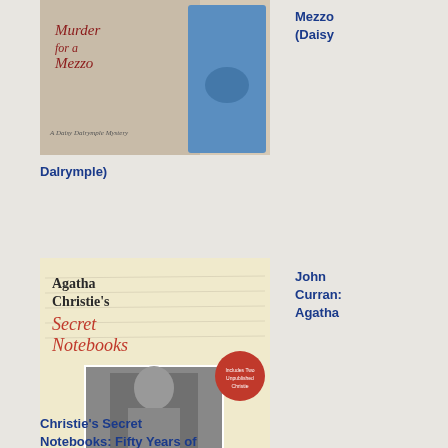[Figure (photo): Book cover for 'Murder for a Mezzo (Daisy Dalrymple)' showing a woman in blue dress]
Mezzo (Daisy
Dalrymple)
[Figure (photo): Book cover for 'Agatha Christie's Secret Notebooks: Fifty Years of Mysteries in the Making' by John Curran]
John
Curran:
Agatha
Christie's Secret
Notebooks: Fifty Years of
Mysteries in the Making -
Includes Two
Unpublished Poirot
Stories
[Figure (photo): Partial book cover showing a portrait of a person]
the
boo
righ
thro
to
the
end
and
as
alw
the
is
a
twis
whi
I
did
not
see
con
I
was
pre